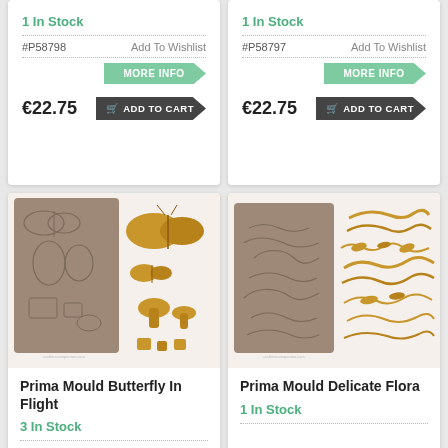1 In Stock
#P58798
Add To Wishlist
MORE INFO
€22.75
ADD TO CART
1 In Stock
#P58797
Add To Wishlist
MORE INFO
€22.75
ADD TO CART
[Figure (photo): Prima Mould Butterfly In Flight product image showing silicone mould and golden butterfly castings]
Prima Mould Butterfly In Flight
3 In Stock
[Figure (photo): Prima Mould Delicate Flora product image showing silicone mould and golden floral/script castings]
Prima Mould Delicate Flora
1 In Stock